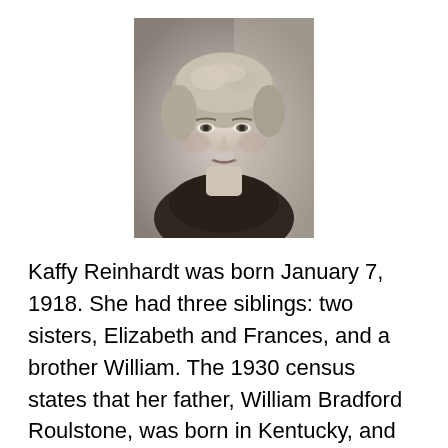[Figure (photo): Black and white portrait photo of Kaffy Reinhardt, a woman with short curly light hair, facing slightly toward the camera.]
Kaffy Reinhardt was born January 7, 1918. She had three siblings: two sisters, Elizabeth and Frances, and a brother William. The 1930 census states that her father, William Bradford Roulstone, was born in Kentucky, and her mother, Katherine Roulstone, was born in Missouri. Once they were married, they had Elizabeth, born in Georgia, but the rest, including her brother William Bradford Roulstone, were born in Islip, New York, where